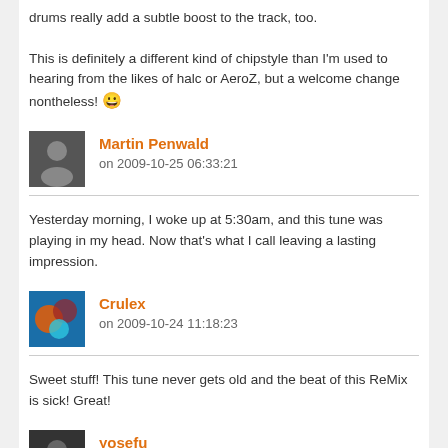drums really add a subtle boost to the track, too.

This is definitely a different kind of chipstyle than I'm used to hearing from the likes of halc or AeroZ, but a welcome change nontheless! 😀
Martin Penwald
on 2009-10-25 06:33:21
Yesterday morning, I woke up at 5:30am, and this tune was playing in my head. Now that's what I call leaving a lasting impression.
Crulex
on 2009-10-24 11:18:23
Sweet stuff! This tune never gets old and the beat of this ReMix is sick! Great!
yosefu